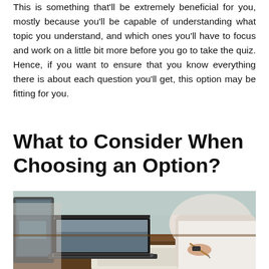This is something that'll be extremely beneficial for you, mostly because you'll be capable of understanding what topic you understand, and which ones you'll have to focus and work on a little bit more before you go to take the quiz. Hence, if you want to ensure that you know everything there is about each question you'll get, this option may be fitting for you.
What to Consider When Choosing an Option?
[Figure (photo): Two people in white shirts working at a desk — one using a laptop, the other writing on paper with a pen. A tablet is visible on the left.]